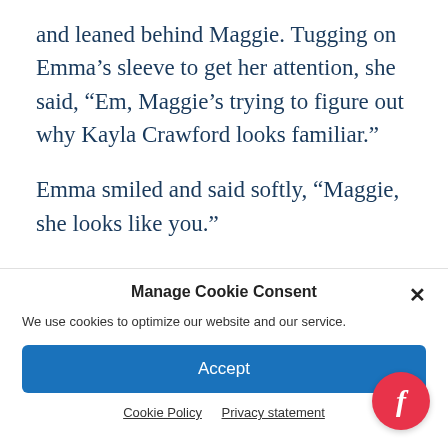and leaned behind Maggie. Tugging on Emma's sleeve to get her attention, she said, “Em, Maggie’s trying to figure out why Kayla Crawford looks familiar.”
Emma smiled and said softly, “Maggie, she looks like you.”
Manage Cookie Consent
We use cookies to optimize our website and our service.
Accept
Cookie Policy  Privacy statement